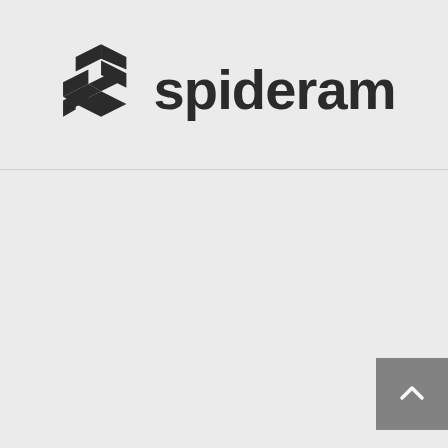[Figure (logo): Spideram company logo: geometric hexagonal S-shape icon on the left followed by the word 'spideram' in bold dark sans-serif letters]
[Figure (other): Gray scroll-to-top button with upward chevron arrow in the bottom-right corner]